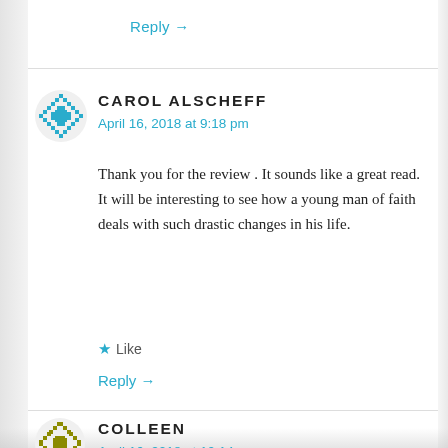Reply →
CAROL ALSCHEFF
April 16, 2018 at 9:18 pm
Thank you for the review . It sounds like a great read. It will be interesting to see how a young man of faith deals with such drastic changes in his life.
★ Like
Reply →
COLLEEN
April 16, 2018 at 10:14 pm